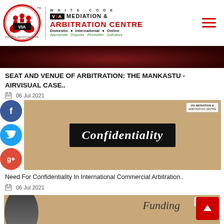[Figure (logo): White Code VIA Mediation & Arbitration Centre logo with circular emblem, VIA text box, and organisation name in red and black. Tagline: Domestic • International • Online / Appropriate Disputes Resolution Judicatory]
[Figure (photo): Dark red/maroon decorative banner image, partial view of ornate setting]
SEAT AND VENUE OF ARBITRATION: THE MANKASTU - AIRVISUAL CASE..
06 Jul 2021
[Figure (photo): Confidentiality article thumbnail - tan/golden background with black banner reading 'Confidentiality' in italic serif font, VIA Mediation badge top right]
Need For Confidentiality In International Commercial Arbitration..
06 Jul 2021
[Figure (photo): Funding article thumbnail - tan/golden background showing person holding umbrella with word 'Funding', VIA badge top right, partial view]